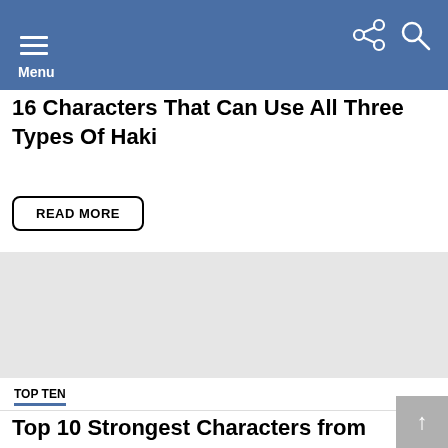Menu
16 Characters That Can Use All Three Types Of Haki
READ MORE
[Figure (other): Gray advertisement placeholder rectangle]
TOP TEN
Top 10 Strongest Characters from South Blue